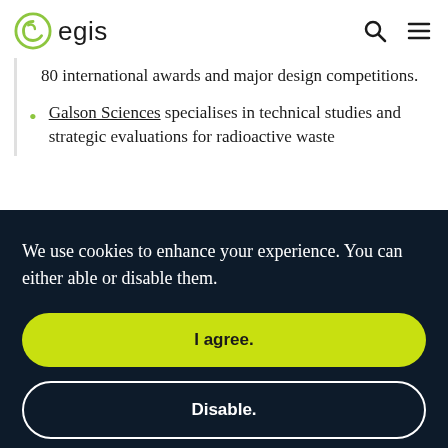egis
80 international awards and major design competitions.
Galson Sciences specialises in technical studies and strategic evaluations for radioactive waste
We use cookies to enhance your experience. You can either able or disable them.
I agree.
Disable.